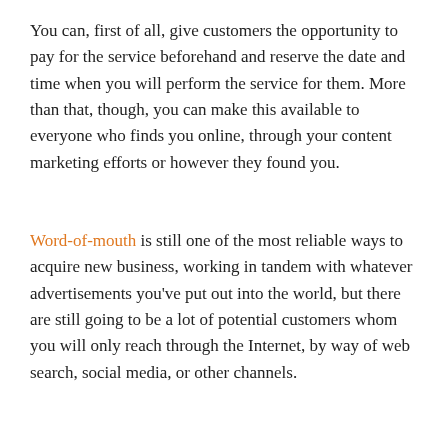You can, first of all, give customers the opportunity to pay for the service beforehand and reserve the date and time when you will perform the service for them. More than that, though, you can make this available to everyone who finds you online, through your content marketing efforts or however they found you.
Word-of-mouth is still one of the most reliable ways to acquire new business, working in tandem with whatever advertisements you've put out into the world, but there are still going to be a lot of potential customers whom you will only reach through the Internet, by way of web search, social media, or other channels.